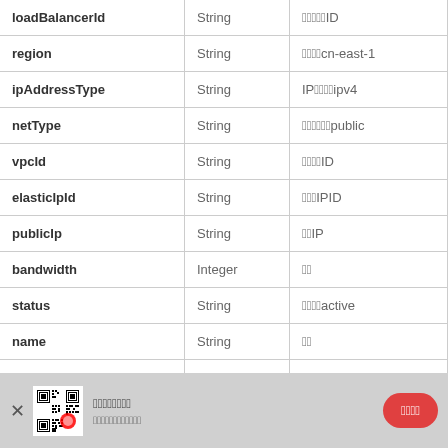| Field | Type | Description |
| --- | --- | --- |
| loadBalancerId | String | 󰀀󰀀󰀀󰀀󰀀ID |
| region | String | 󰀀󰀀󰀀󰀀cn-east-1 |
| ipAddressType | String | IP󰀀󰀀󰀀󰀀ipv4 |
| netType | String | 󰀀󰀀󰀀󰀀󰀀󰀀public |
| vpcId | String | 󰀀󰀀󰀀󰀀ID |
| elasticIpId | String | 󰀀󰀀󰀀IPID |
| publicIp | String | 󰀀󰀀IP |
| bandwidth | Integer | 󰀀󰀀 |
| status | String | 󰀀󰀀󰀀󰀀active |
| name | String | 󰀀󰀀 |
| description | String | 󰀀󰀀 |
| createTime | String | 󰀀󰀀󰀀󰀀 |